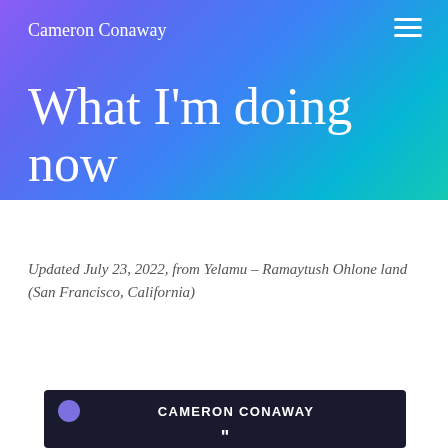Cameron Conaway
What I’m doing now
Updated July 23, 2022, from Yelamu – Ramaytush Ohlone land (San Francisco, California)
[Figure (photo): Dark background banner with a purple circle, bold text reading CAMERON CONAWAY, and a partial face/portrait below with quote marks]